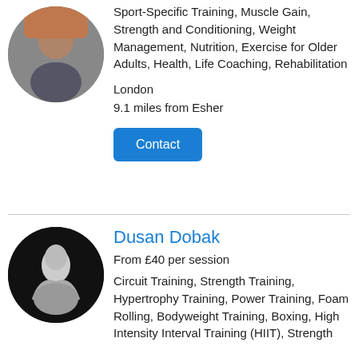[Figure (photo): Circular profile photo of a trainer, partially cropped at top]
Sport-Specific Training, Muscle Gain, Strength and Conditioning, Weight Management, Nutrition, Exercise for Older Adults, Health, Life Coaching, Rehabilitation
London
9.1 miles from Esher
Contact
[Figure (photo): Circular profile photo of Dusan Dobak, a muscular man in black and white against a dark background]
Dusan Dobak
From £40 per session
Circuit Training, Strength Training, Hypertrophy Training, Power Training, Foam Rolling, Bodyweight Training, Boxing, High Intensity Interval Training (HIIT), Strength